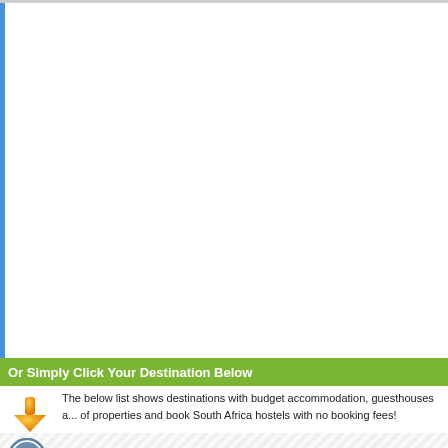Or Simply Click Your Destination Below
The below list shows destinations with budget accommodation, guesthouses a... of properties and book South Africa hostels with no booking fees!
Addo
Cape Town